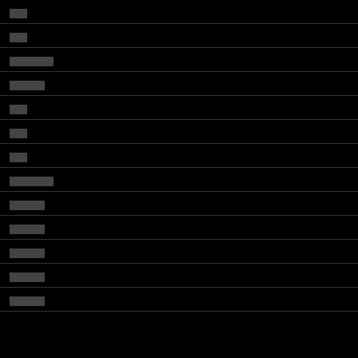██
██
██████
█████
██
██
██
██████
█████
█████
█████
█████
█████